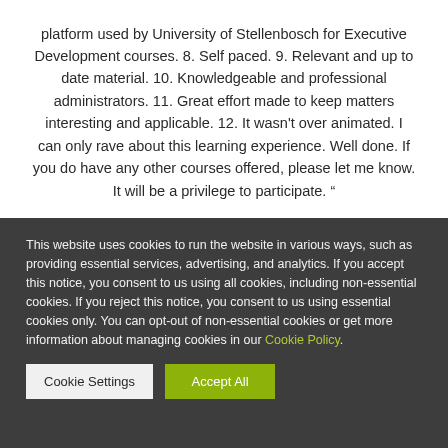platform used by University of Stellenbosch for Executive Development courses. 8. Self paced. 9. Relevant and up to date material. 10. Knowledgeable and professional administrators. 11. Great effort made to keep matters interesting and applicable. 12. It wasn't over animated. I can only rave about this learning experience. Well done. If you do have any other courses offered, please let me know. It will be a privilege to participate. “
This website uses cookies to run the website in various ways, such as providing essential services, advertising, and analytics. If you accept this notice, you consent to us using all cookies, including non-essential cookies. If you reject this notice, you consent to us using essential cookies only. You can opt-out of non-essential cookies or get more information about managing cookies in our Cookie Policy.